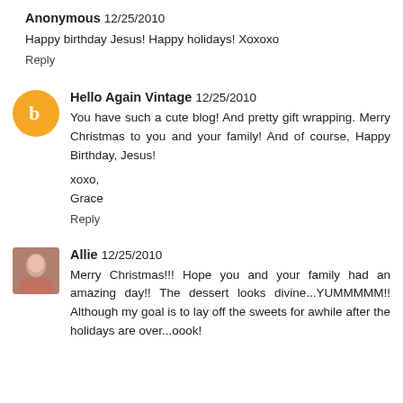Anonymous 12/25/2010
Happy birthday Jesus! Happy holidays! Xoxoxo
Reply
[Figure (illustration): Orange circle avatar with white blogger 'b' icon]
Hello Again Vintage 12/25/2010
You have such a cute blog! And pretty gift wrapping. Merry Christmas to you and your family! And of course, Happy Birthday, Jesus!

xoxo,
Grace
Reply
[Figure (photo): Small photo of a young woman with brown hair]
Allie 12/25/2010
Merry Christmas!!! Hope you and your family had an amazing day!! The dessert looks divine...YUMMMMM!! Although my goal is to lay off the sweets for awhile after the holidays are over...oook!